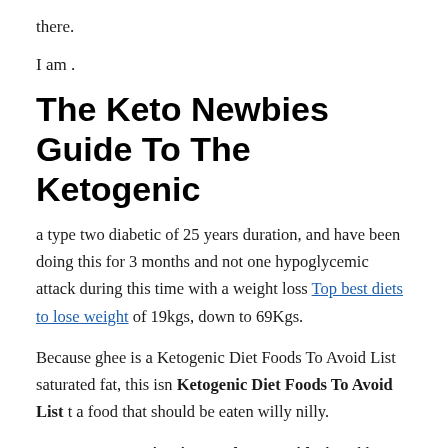there.
I am .
The Keto Newbies Guide To The Ketogenic
a type two diabetic of 25 years duration, and have been doing this for 3 months and not one hypoglycemic attack during this time with a weight loss Top best diets to lose weight of 19kgs, down to 69Kgs.
Because ghee is a Ketogenic Diet Foods To Avoid List saturated fat, this isn Ketogenic Diet Foods To Avoid List t a food that should be eaten willy nilly.
You can Ketogenic Diet Foods To Avoid List add meals or